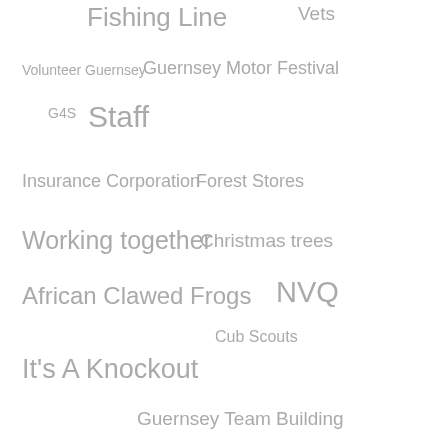[Figure (infographic): Tag cloud / word cloud showing various terms related to Guernsey community events and activities in different font sizes, all in grey color. Terms include: Fishing Line, Vets, Volunteer Guernsey, Guernsey Motor Festival, G4S, Staff, Insurance Corporation, Forest Stores, Working together, Christmas trees, African Clawed Frogs, NVQ, Cub Scouts, It's A Knockout, Guernsey Team Building, National Cat Day, Animal Rescue, Livingroom, Grey Silkies, Link Centre, Guernsey Dog Law, Poultry Day, Guernsey Gaming Fest' 2018, Smith Street, Top Chefs, Reptile, Slide Show, Guernsey Bunker, Next Generation IT, Marks and Spencers, Santa Paws Dog, Hellvetia Challenge]